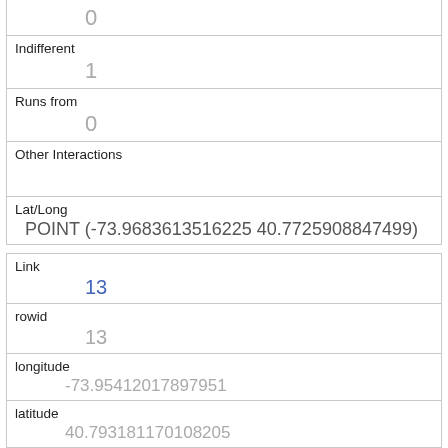|  | 0 |
| Indifferent | 1 |
| Runs from | 0 |
| Other Interactions |  |
| Lat/Long | POINT (-73.9683613516225 40.7725908847499) |
| Link | 13 |
| rowid | 13 |
| longitude | -73.95412017897951 |
| latitude | 40.793181170108205 |
| Unique Squirrel ID | 36H-AM-1010-02 |